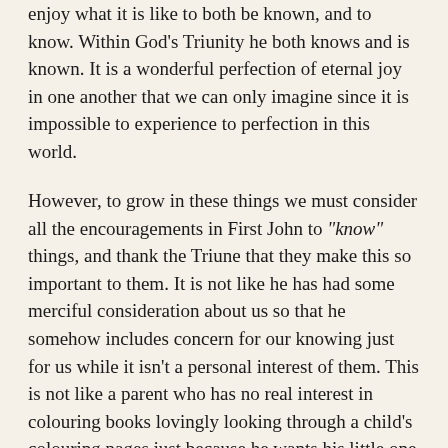enjoy what it is like to both be known, and to know. Within God's Triunity he both knows and is known. It is a wonderful perfection of eternal joy in one another that we can only imagine since it is impossible to experience to perfection in this world.
However, to grow in these things we must consider all the encouragements in First John to "know" things, and thank the Triune that they make this so important to them. It is not like he has had some merciful consideration about us so that he somehow includes concern for our knowing just for us while it isn't a personal interest of them. This is not like a parent who has no real interest in colouring books lovingly looking through a child's colouring pages just because he wants his little one to know what it feels like to have someone show such interest.
No, when God addresses our desperate need to know them, it is because knowing is so foundational